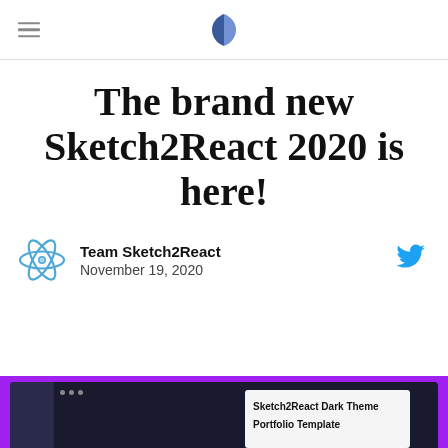Team Sketch2React — navigation header with logo
The brand new Sketch2React 2020 is here!
Team Sketch2React
November 19, 2020
[Figure (screenshot): Screenshot preview of Sketch2React Dark Theme Portfolio Template application window on a purple background]